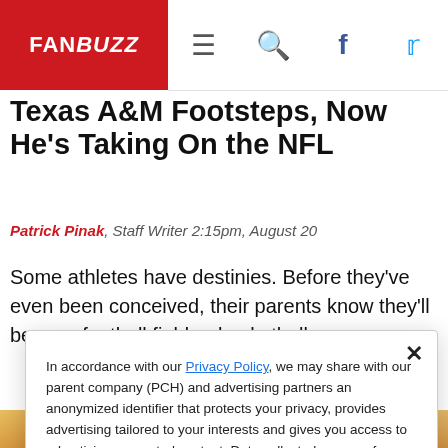FANBUZZ
Texas A&M Footsteps, Now He's Taking On the NFL
Patrick Pinak, Staff Writer 2:15pm, August 20
Some athletes have destinies. Before they've even been conceived, their parents know they'll be on a football field or basketball...
In accordance with our Privacy Policy, we may share with our parent company (PCH) and advertising partners an anonymized identifier that protects your privacy, provides advertising tailored to your interests and gives you access to advertising supported content. Data collected on one of our sites may be used on our other owned and operated sites, which sites are identified in our Privacy Policy. All of our sites are governed by the same Privacy Policy, and by proceeding to access this site, you are consenting to that Privacy Policy.